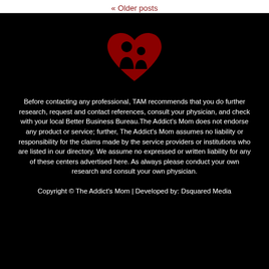« Older posts
[Figure (logo): Red heart shape with silhouettes of two people (adult and child) inside, on black background — logo for The Addict's Mom]
Before contacting any professional, TAM recommends that you do further research, request and contact references, consult your physician, and check with your local Better Business Bureau.The Addict's Mom does not endorse any product or service; further, The Addict's Mom assumes no liability or responsibility for the claims made by the service providers or institutions who are listed in our directory. We assume no expressed or written liability for any of these centers advertised here. As always please conduct your own research and consult your own physician.
Copyright © The Addict's Mom | Developed by: Dsquared Media